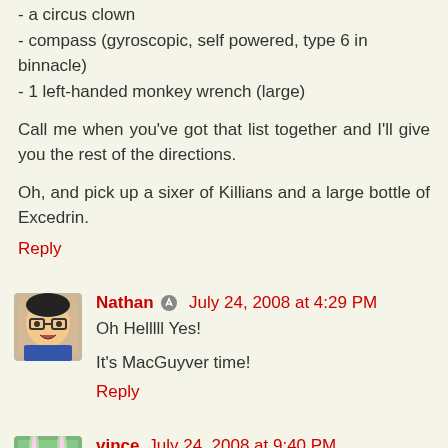- a circus clown
- compass (gyroscopic, self powered, type 6 in binnacle)
- 1 left-handed monkey wrench (large)
Call me when you've got that list together and I'll give you the rest of the directions.
Oh, and pick up a sixer of Killians and a large bottle of Excedrin.
Reply
[Figure (illustration): Avatar of commenter Nathan - cartoon style illustration of a person with glasses]
Nathan [edit icon] July 24, 2008 at 4:29 PM
Oh Helllll Yes!
It's MacGuyver time!
Reply
[Figure (illustration): Avatar of commenter vince - cartoon style illustration of a creature with long ears]
vince July 24, 2008 at 9:40 PM
I think to be a customer you would have to, like, actually